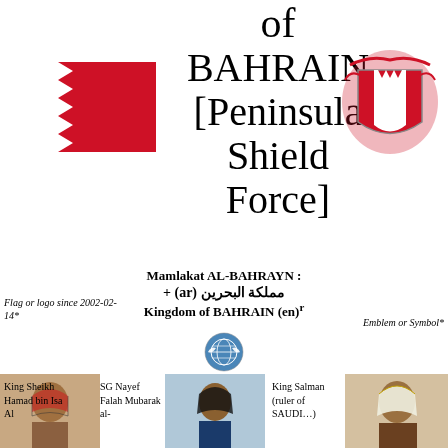of BAHRAIN [Peninsula Shield Force]
[Figure (illustration): Flag of Bahrain — red and white with serrated edge, since 2002-02-14]
[Figure (illustration): Coat of arms / emblem of Bahrain — red shield with serrated white band, flanked by red decorative elements]
Mamlakat AL-BAHRAYN : مملكة البحرين (ar) + Kingdom of BAHRAIN (en)
Flag or logo since 2002-02-14*
Emblem or Symbol*
[Figure (logo): United Nations circular emblem/logo]
[Figure (photo): King Sheikh Hamad bin Isa Al — portrait photo]
King Sheikh Hamad bin Isa Al
[Figure (photo): SG Nayef Falah Mubarak al- — portrait photo]
SG Nayef Falah Mubarak al-
[Figure (photo): King Salman (ruler of SAUD…) — portrait photo]
King Salman (ruler of SAUDI…)